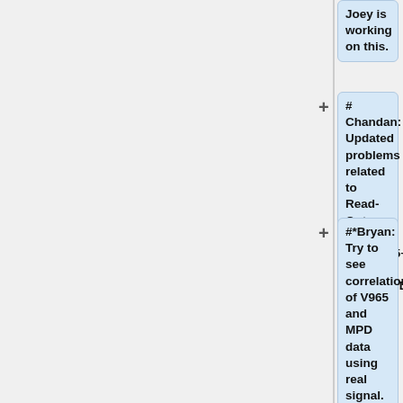Joey is working on this.
# Chandan: Updated problems related to Read-Out-List for TIR+V965+MPD and V965+MPD.
#*Bryan: Try to see correlation of V965 and MPD data using real signal. Look at the ROC output - may be get word missing warning.
#*Seamus: Look at the counter of strip signals from the APV trailer.
#Seamus: Discussed about